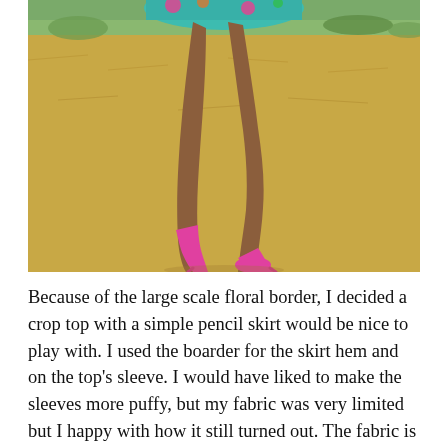[Figure (photo): A woman jumping or posing in a colorful floral dress/top and bright pink high heels, photographed outdoors on dry golden grass with some green shrubs in the background. Only the lower body and legs are visible in the frame.]
Because of the large scale floral border, I decided a crop top with a simple pencil skirt would be nice to play with. I used the boarder for the skirt hem and on the top's sleeve. I would have liked to make the sleeves more puffy, but my fabric was very limited but I happy with how it still turned out. The fabric is quite light weight so I decide I needed to fully line the shirt. Honestly I'm not someone who lines a lot of things because I hate how